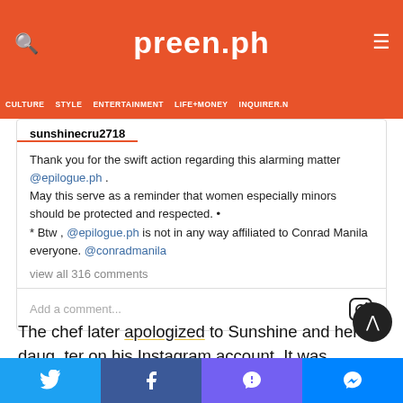preen.ph
CULTURE  STYLE  ENTERTAINMENT  LIFE+MONEY  INQUIRER.N
sunshinecru2718
Thank you for the swift action regarding this alarming matter @epilogue.ph . May this serve as a reminder that women especially minors should be protected and respected. •
* Btw , @epilogue.ph is not in any way affiliated to Conrad Manila everyone. @conradmanila
view all 316 comments
Add a comment...
The chef later apologized to Sunshine and her daughter on his Instagram account. It was straightforward and didn't defend himself further from his faults.